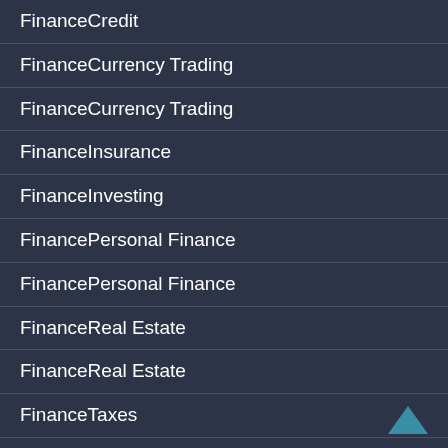FinanceCredit
FinanceCurrency Trading
FinanceCurrency Trading
FinanceInsurance
FinanceInvesting
FinancePersonal Finance
FinancePersonal Finance
FinanceReal Estate
FinanceReal Estate
FinanceTaxes
Financial Freedom
Gambling News
Gambling News
Music Celebs